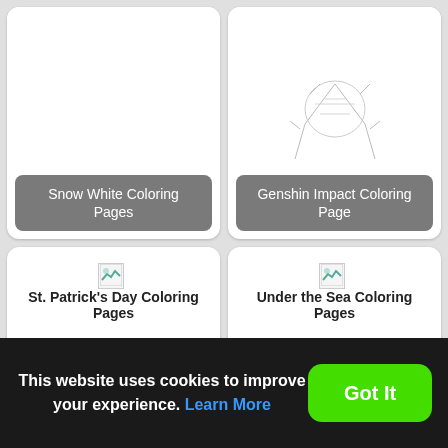[Figure (screenshot): Grid of coloring page cards: Snow White Coloring Pages, Genshin Impact Coloring Page, St. Patrick's Day Coloring Pages, Under the Sea Coloring Pages, Strawberry Shortcake Coloring, and a Luca coloring page card.]
Snow White Coloring Pages
Genshin Impact Coloring Page
St. Patrick's Day Coloring Pages
Under the Sea Coloring Pages
Strawberry Shortcake Coloring
This website uses cookies to improve your experience. Learn More
Got It